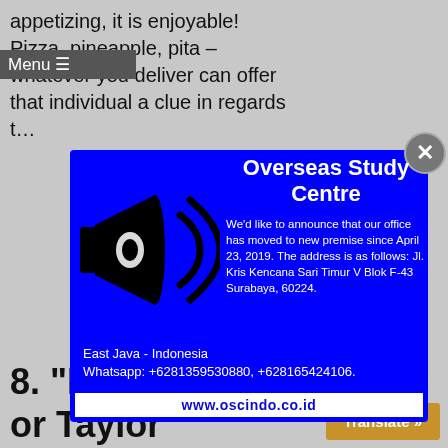appetizing, it is enjoyable! Pizza, pineapple, pita – whatever you deliver can offer that individual a clue in regards t…
8. "Katy Perry or Taylor Swift?"
[Figure (infographic): Blue modal popup for Overseas Study Centre announcement with megaphone icon. Title: Overseas Study Centre. Body: We'd like to announce that our office has moved to new premise since April 23, 2019. The address is as follows: Jl. Kris Kencana Sari Timur V Blok F-43 Surabaya, 60224. East Java - Indonesia. Whatsapp: +6281359530880, +628165424106. Website: www.oscindo.co.id]
www.oscindo.co.id